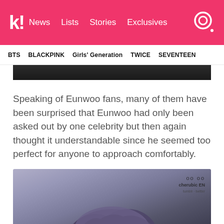k! News Lists Stories Exclusives
BTS BLACKPINK Girls' Generation TWICE SEVENTEEN
[Figure (photo): Top portion of a dark background photo, partially cropped]
Speaking of Eunwoo fans, many of them have been surprised that Eunwoo had only been asked out by one celebrity but then again thought it understandable since he seemed too perfect for anyone to approach comfortably.
[Figure (photo): Photo of a person with purple/lavender tinted dark hair from behind, blurred background, with cherubic EN watermark]